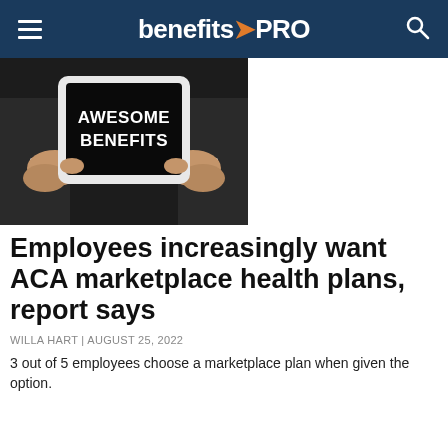benefitsPRO
[Figure (photo): Person in suit holding a tablet/sign that reads AWESOME BENEFITS in white bold text on black background]
Employees increasingly want ACA marketplace health plans, report says
WILLA HART | AUGUST 25, 2022
3 out of 5 employees choose a marketplace plan when given the option.